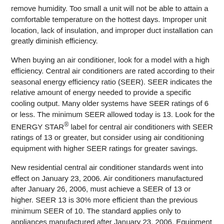remove humidity. Too small a unit will not be able to attain a comfortable temperature on the hottest days. Improper unit location, lack of insulation, and improper duct installation can greatly diminish efficiency.
When buying an air conditioner, look for a model with a high efficiency. Central air conditioners are rated according to their seasonal energy efficiency ratio (SEER). SEER indicates the relative amount of energy needed to provide a specific cooling output. Many older systems have SEER ratings of 6 or less. The minimum SEER allowed today is 13. Look for the ENERGY STAR® label for central air conditioners with SEER ratings of 13 or greater, but consider using air conditioning equipment with higher SEER ratings for greater savings.
New residential central air conditioner standards went into effect on January 23, 2006. Air conditioners manufactured after January 26, 2006, must achieve a SEER of 13 or higher. SEER 13 is 30% more efficient than the previous minimum SEER of 10. The standard applies only to appliances manufactured after January 23, 2006. Equipment with a rating less than SEER 13 manufactured before this date may still be sold and installed.